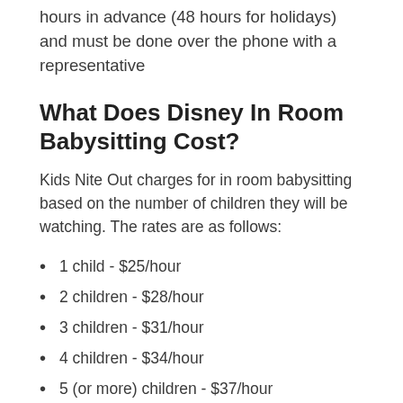hours in advance (48 hours for holidays) and must be done over the phone with a representative
What Does Disney In Room Babysitting Cost?
Kids Nite Out charges for in room babysitting based on the number of children they will be watching. The rates are as follows:
1 child - $25/hour
2 children - $28/hour
3 children - $31/hour
4 children - $34/hour
5 (or more) children - $37/hour